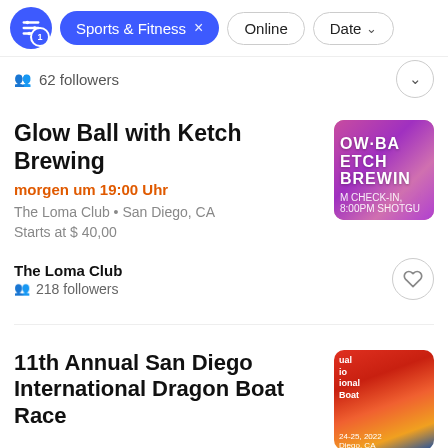Sports & Fitness × | Online | Date
62 followers
Glow Ball with Ketch Brewing
morgen um 19:00 Uhr
The Loma Club • San Diego, CA
Starts at $ 40,00
The Loma Club
218 followers
11th Annual San Diego International Dragon Boat Race